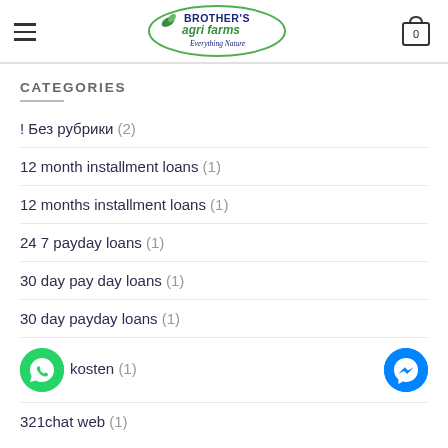[Figure (logo): Brother's Agri Farms - Everything Nature logo in oval green border with leaf icons]
CATEGORIES
! Без рубрики (2)
12 month installment loans (1)
12 months installment loans (1)
24 7 payday loans (1)
30 day pay day loans (1)
30 day payday loans (1)
kosten (1)
321chat web (1)